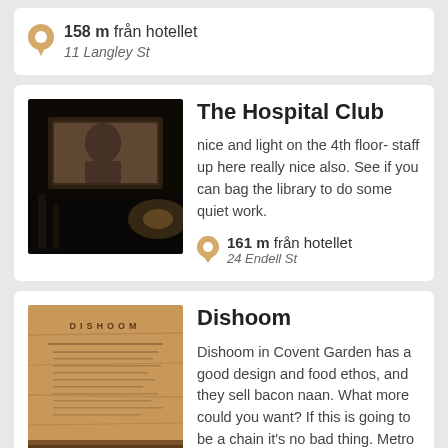158 m från hotellet
11 Langley St
The Hospital Club
nice and light on the 4th floor- staff up here really nice also. See if you can bag the library to do some quiet work.
161 m från hotellet
24 Endell St
[Figure (photo): Dark interior photo of a venue showing a screen or monitor mounted on a wall]
Dishoom
Dishoom in Covent Garden has a good design and food ethos, and they sell bacon naan. What more could you want? If this is going to be a chain it's no bad thing. Metro gave it 3 out of 5 Stars.
[Figure (photo): Warm-toned wooden menu or sign for Dishoom restaurant]